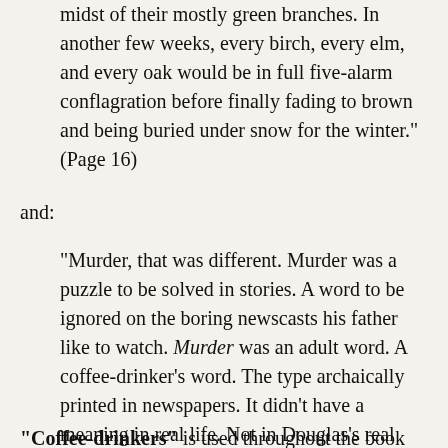midst of their mostly green branches. In another few weeks, every birch, every elm, and every oak would be in full five-alarm conflagration before finally fading to brown and being buried under snow for the winter." (Page 16)
and:
"Murder, that was different. Murder was a puzzle to be solved in stories. A word to be ignored on the boring newscasts his father like to watch. Murder was an adult word. A coffee-drinker's word. The type archaically printed in newspapers. It didn't have a meaning in real life. Not in Douglas's real life, anyway. Not in Douglas's Cowlmouth." (Page 42)
"Coffee-drinkers" is used throughout the book